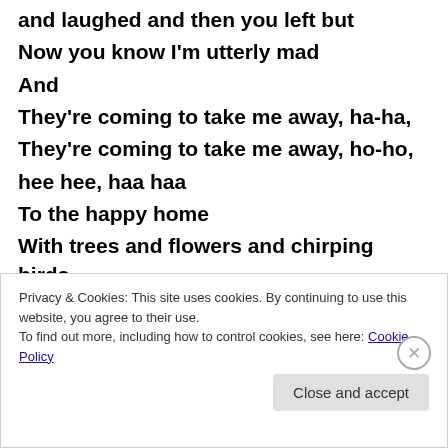and laughed and then you left but
Now you know I'm utterly mad
And
They're coming to take me away, ha-ha,
They're coming to take me away, ho-ho,
hee hee, haa haa
To the happy home
With trees and flowers and chirping birds
And basket-weavers who sit and smile
And twiddle their thumbs and toes
And they're coming to take me away, ha-hahaha..."
Privacy & Cookies: This site uses cookies. By continuing to use this website, you agree to their use. To find out more, including how to control cookies, see here: Cookie Policy